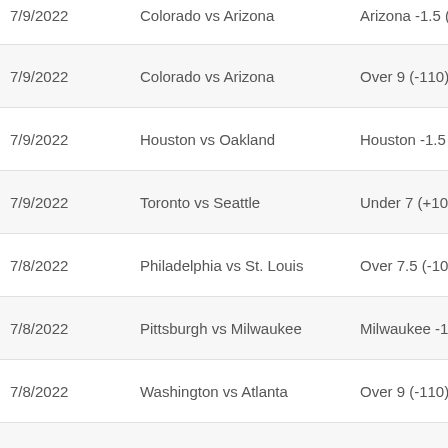| Date | Game | Bet |
| --- | --- | --- |
| 7/9/2022 | Colorado vs Arizona | Arizona -1.5 (+... |
| 7/9/2022 | Colorado vs Arizona | Over 9 (-110) |
| 7/9/2022 | Houston vs Oakland | Houston -1.5 (-... |
| 7/9/2022 | Toronto vs Seattle | Under 7 (+100) |
| 7/8/2022 | Philadelphia vs St. Louis | Over 7.5 (-105) |
| 7/8/2022 | Pittsburgh vs Milwaukee | Milwaukee -1.5... |
| 7/8/2022 | Washington vs Atlanta | Over 9 (-110) |